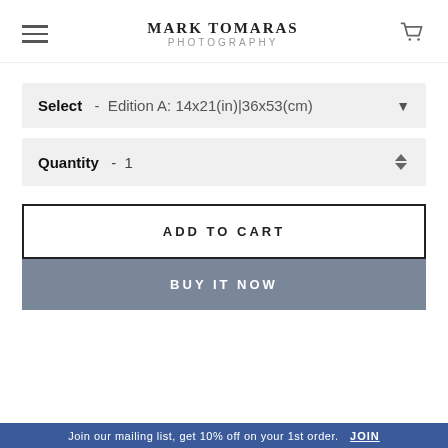MARK TOMARAS PHOTOGRAPHY
Select - Edition A: 14x21(in)|36x53(cm)
Quantity - 1
ADD TO CART
BUY IT NOW
Join our mailing list, get 10% off on your 1st order. JOIN